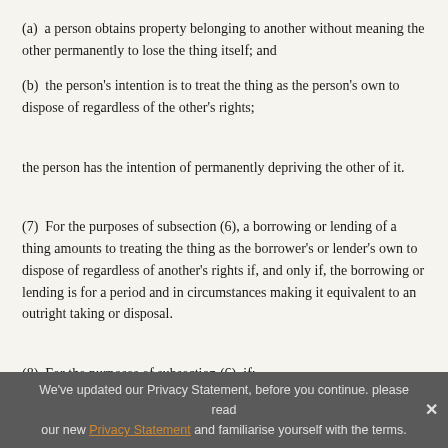(a)  a person obtains property belonging to another without meaning the other permanently to lose the thing itself; and
(b)  the person's intention is to treat the thing as the person's own to dispose of regardless of the other's rights;
the person has the intention of permanently depriving the other of it.
(7)  For the purposes of subsection (6), a borrowing or lending of a thing amounts to treating the thing as the borrower's or lender's own to dispose of regardless of another's rights if, and only if, the borrowing or lending is for a period and in circumstances making it equivalent to an outright taking or disposal.
(8)  For the purposes of subsection (6), if:
We've updated our Privacy Statement, before you continue. please read our new Privacy Statement and familiarise yourself with the terms.